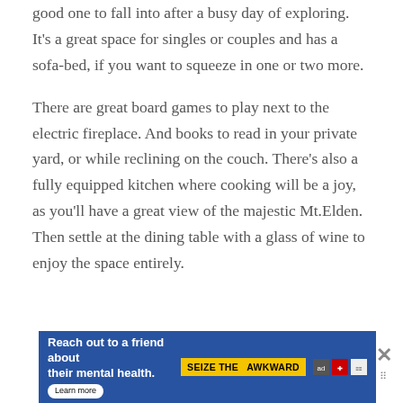good one to fall into after a busy day of exploring. It's a great space for singles or couples and has a sofa-bed, if you want to squeeze in one or two more.
There are great board games to play next to the electric fireplace. And books to read in your private yard, or while reclining on the couch. There's also a fully equipped kitchen where cooking will be a joy, as you'll have a great view of the majestic Mt.Elden. Then settle at the dining table with a glass of wine to enjoy the space entirely.
[Figure (other): Advertisement banner: 'Reach out to a friend about their mental health. Learn more' with 'SEIZE THE AWKWARD' badge and media logos, plus a close button with X icon.]